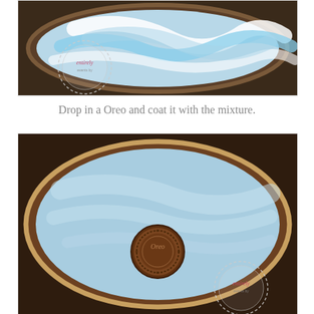[Figure (photo): Top-down view of a bowl with white and blue swirled candy coating mixture, with a watermark circle logo in the lower left corner]
Drop in a Oreo and coat it with the mixture.
[Figure (photo): Top-down view of a bowl filled with light blue candy coating with a single Oreo cookie dropped in the center, with a watermark circle logo in the lower right corner]